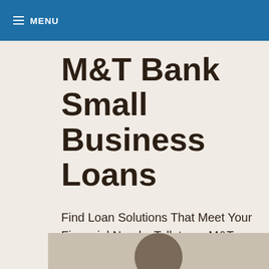MENU
M&T Bank Small Business Loans
Find Loan Solutions That Meet Your Financial Needs. Talk to an M&T Business Banker Today.
[Figure (photo): Partial view of a person's head at the bottom of the page, against a beige/tan background]